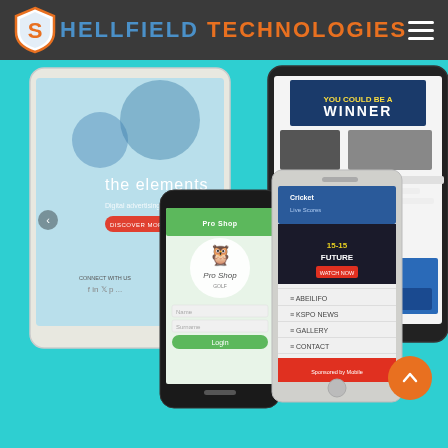Shellfield Technologies
[Figure (screenshot): A website screenshot collage showing a tablet, two smartphones (iPhone-style and Android-style), displaying various websites including a digital advertising site with text 'the elements', a cricket/sports app called ProShop, and a sports website showing '15-15 FUTURE'. There is also text 'WINNER' visible on the tablet and a shopping website. The background is teal/turquoise. An orange back-to-top arrow button is visible in the bottom right.]